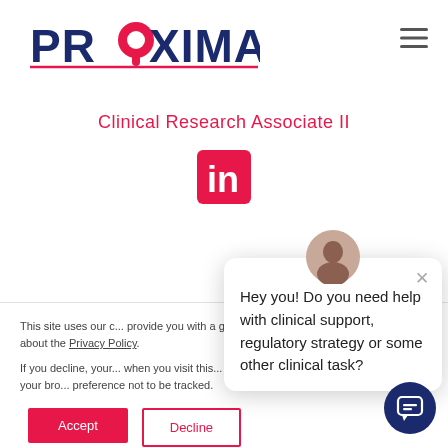[Figure (logo): Proxima Clinical Research logo with location pin icon and tagline CLINICAL RESEARCH]
Clinical Research Associate II
[Figure (logo): LinkedIn share icon button]
This site uses our c... provide you with a g... out more about the... Privacy Policy. If you decline, your... when you visit this... be used in your bro... preference not to be tracked.
[Figure (screenshot): Chat popup with avatar: Hey you! Do you need help with clinical support, regulatory strategy or some other clinical task?]